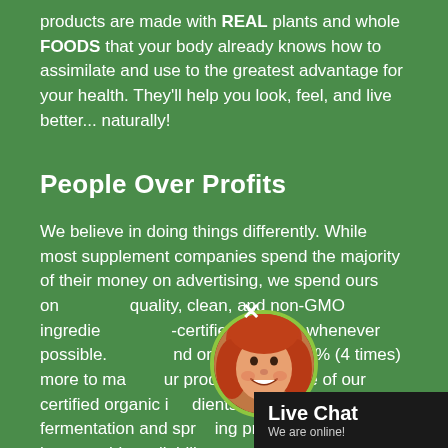products are made with REAL plants and whole FOODS that your body already knows how to assimilate and use to the greatest advantage for your health. They'll help you look, feel, and live better... naturally!
People Over Profits
We believe in doing things differently. While most supplement companies spend the majority of their money on advertising, we spend ours on quality, clean, and non-GMO ingredients — certified organic, whenever possible. And on average 400% (4 times) more to make our products because of our certified organic ingredients and time-consuming fermentation and sprouting processes that increase bioavailability. You get exactly what you pay for – the best
[Figure (photo): Live chat widget with avatar of a smiling woman with red hair, circular photo with green border, black chat box labeled 'Live Chat - We are online!']